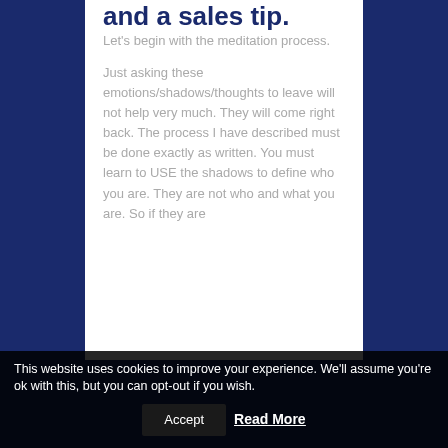and a sales tip.
Let's begin with the meditation process.
Just asking these emotions/shadows/thoughts to leave will not help very much. They will come right back. The process I have described must be done exactly as written. You must learn to USE the shadows to define who you are. They are not who and what you are. So if they are
This website uses cookies to improve your experience. We'll assume you're ok with this, but you can opt-out if you wish. Accept Read More